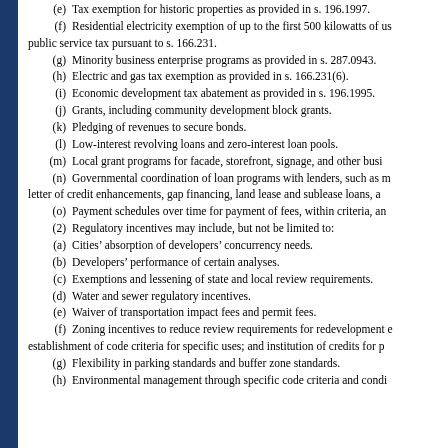(e)  Tax exemption for historic properties as provided in s. 196.1997.
(f)  Residential electricity exemption of up to the first 500 kilowatts of us public service tax pursuant to s. 166.231.
(g)  Minority business enterprise programs as provided in s. 287.0943.
(h)  Electric and gas tax exemption as provided in s. 166.231(6).
(i)  Economic development tax abatement as provided in s. 196.1995.
(j)  Grants, including community development block grants.
(k)  Pledging of revenues to secure bonds.
(l)  Low-interest revolving loans and zero-interest loan pools.
(m)  Local grant programs for facade, storefront, signage, and other busi
(n)  Governmental coordination of loan programs with lenders, such as m letter of credit enhancements, gap financing, land lease and sublease loans, a
(o)  Payment schedules over time for payment of fees, within criteria, an
(2)  Regulatory incentives may include, but not be limited to:
(a)  Cities’ absorption of developers’ concurrency needs.
(b)  Developers’ performance of certain analyses.
(c)  Exemptions and lessening of state and local review requirements.
(d)  Water and sewer regulatory incentives.
(e)  Waiver of transportation impact fees and permit fees.
(f)  Zoning incentives to reduce review requirements for redevelopment e establishment of code criteria for specific uses; and institution of credits for p
(g)  Flexibility in parking standards and buffer zone standards.
(h)  Environmental management through specific code criteria and condi